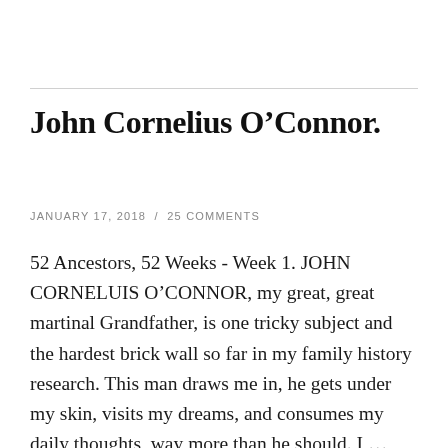John Cornelius O’Connor.
JANUARY 17, 2018  /  25 COMMENTS
52 Ancestors, 52 Weeks - Week 1. JOHN CORNELUIS O’CONNOR, my great, great martinal Grandfather, is one tricky subject and the hardest brick wall so far in my family history research. This man draws me in, he gets under my skin, visits my dreams, and consumes my daily thoughts, way more than he should. I ... Continue reading